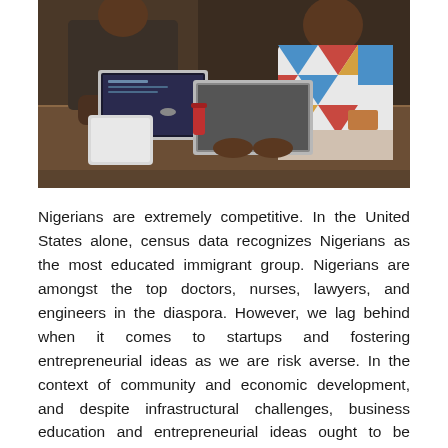[Figure (photo): Two people sitting at a wooden table working on laptops in what appears to be a casual workspace or café. One person is wearing a colorful geometric-patterned shirt.]
Nigerians are extremely competitive. In the United States alone, census data recognizes Nigerians as the most educated immigrant group. Nigerians are amongst the top doctors, nurses, lawyers, and engineers in the diaspora. However, we lag behind when it comes to startups and fostering entrepreneurial ideas as we are risk averse. In the context of community and economic development, and despite infrastructural challenges, business education and entrepreneurial ideas ought to be fostered early on.